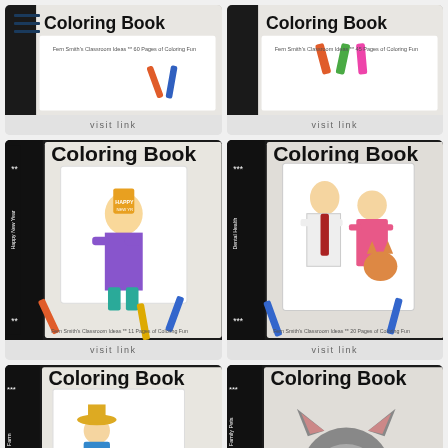[Figure (screenshot): Hamburger menu icon with three horizontal bars in navy blue]
[Figure (screenshot): Coloring book product thumbnail - top left, partially cropped, Fern Smith's Classroom Ideas, 60 pages of coloring fun]
visit link
[Figure (screenshot): Coloring book product thumbnail - top right, partially cropped, Fern Smith's Classroom Ideas, 45 pages of coloring fun]
visit link
[Figure (screenshot): Happy New Year Coloring Book - Fern Smith's Classroom Ideas, 11 pages of coloring fun]
visit link
[Figure (screenshot): Dental Health Coloring Book - Fern Smith's Classroom Ideas, 20 pages of coloring fun]
visit link
[Figure (screenshot): Farm Coloring Book - Fern Smith's Classroom Ideas, partially visible]
[Figure (screenshot): Family Pets Coloring Book - Fern Smith's Classroom Ideas, partially visible]
BACK TO TOP